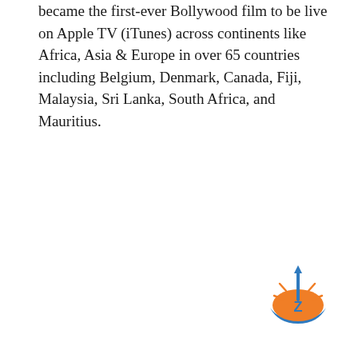became the first-ever Bollywood film to be live on Apple TV (iTunes) across continents like Africa, Asia & Europe in over 65 countries including Belgium, Denmark, Canada, Fiji, Malaysia, Sri Lanka, South Africa, and Mauritius.
[Figure (logo): A circular logo with an orange and blue color scheme featuring a stylized letter Z with sun rays and an upward arrow, resembling a sunrise/movement brand mark.]